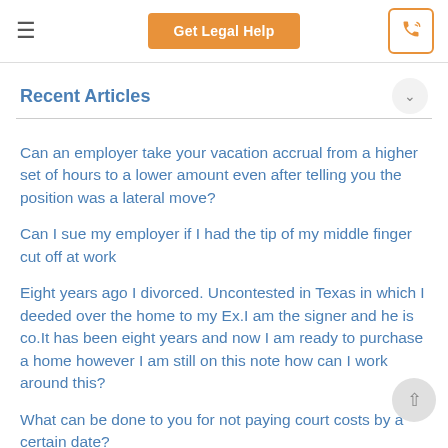FreeAdvice — Get Legal Help
Recent Articles
Can an employer take your vacation accrual from a higher set of hours to a lower amount even after telling you the position was a lateral move?
Can I sue my employer if I had the tip of my middle finger cut off at work
Eight years ago I divorced. Uncontested in Texas in which I deeded over the home to my Ex.I am the signer and he is co.It has been eight years and now I am ready to purchase a home however I am still on this note how can I work around this?
What can be done to you for not paying court costs by a certain date?
Can his kids force me to move out or evict me?